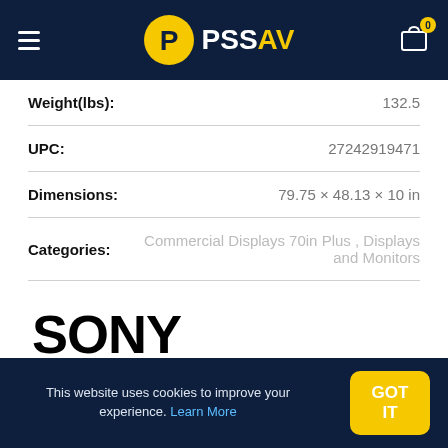PSSAV
| Weight(lbs): | 132.5 |
| UPC: | 27242919471 |
| Dimensions: | 79.75 × 48.13 × 10 in |
| Categories: | Commercial Displays 70in Plus , Displays and Monitors |
[Figure (logo): SONY logo in large bold black text]
Share:
This website uses cookies to improve your experience. Learn More  GOT IT